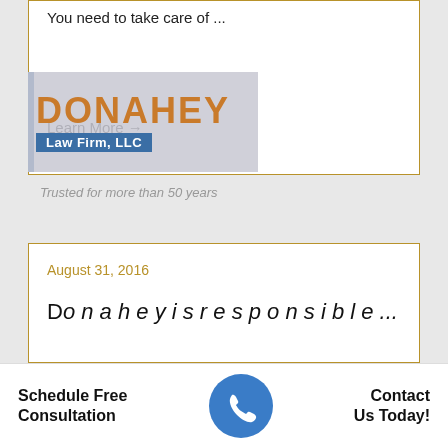You need to take care of ...
Learn More →
[Figure (logo): Donahey Law Firm, LLC logo with orange text and blue box]
Trusted for more than 50 years
August 31, 2016
Donahey is responsible...
Schedule Free Consultation
Contact Us Today!